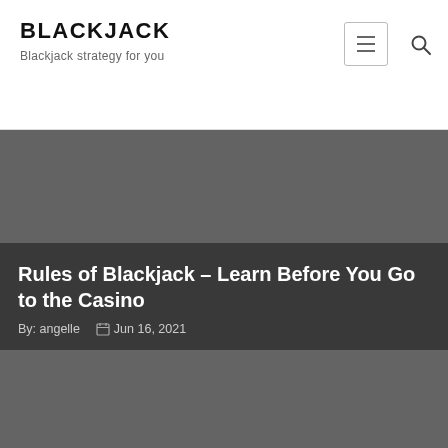BLACKJACK
Blackjack strategy for you
Rules of Blackjack – Learn Before You Go to the Casino
By: angelle   Jun 16, 2021
[Figure (photo): Dark gray banner image area below header, article title and metadata overlaid at bottom]